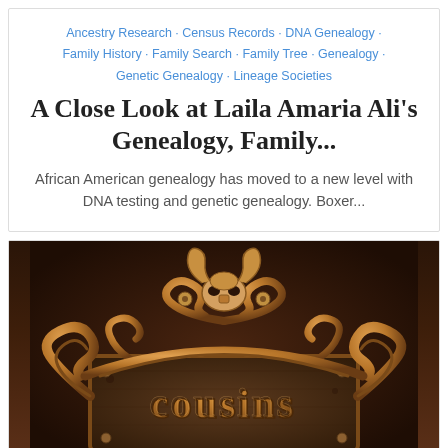Ancestry Research · Census Records · DNA Genealogy · Family History · Family Search · Family Tree · Genealogy · Genetic Genealogy · Lineage Societies
A Close Look at Laila Amaria Ali's Genealogy, Family...
African American genealogy has moved to a new level with DNA testing and genetic genealogy. Boxer...
[Figure (photo): Ornate bronze/copper decorative sign with scrollwork and a ram skull at the top, displaying the word 'cousins' in raised lettering on a rustic wooden plaque background.]